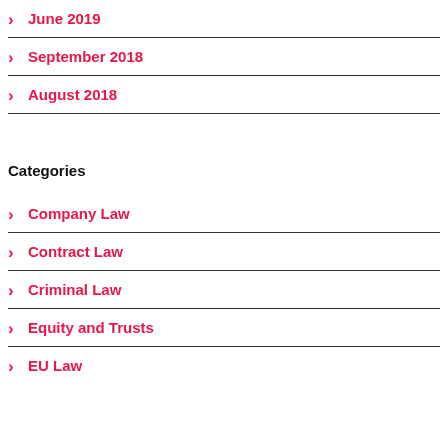> June 2019
> September 2018
> August 2018
Categories
> Company Law
> Contract Law
> Criminal Law
> Equity and Trusts
> EU Law